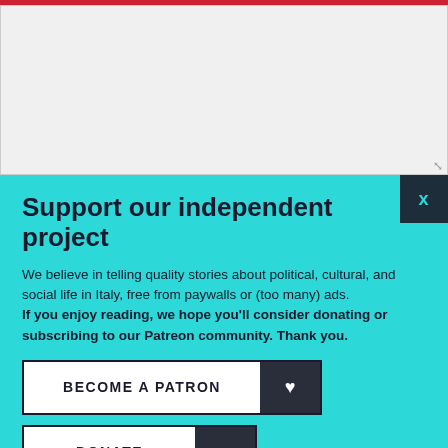[Figure (screenshot): Gray textarea input box (empty) with resize handle at bottom-right]
Support our independent project
We believe in telling quality stories about political, cultural, and social life in Italy, free from paywalls or (too many) ads. If you enjoy reading, we hope you'll consider donating or subscribing to our Patreon community. Thank you.
BECOME A PATRON
DONATE
Follow us: Facebook Instagram Twitter